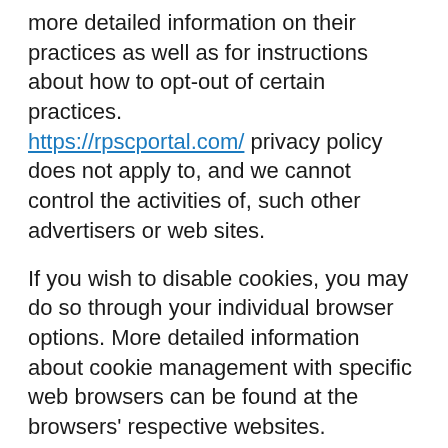more detailed information on their practices as well as for instructions about how to opt-out of certain practices. https://rpscportal.com/ privacy policy does not apply to, and we cannot control the activities of, such other advertisers or web sites.
If you wish to disable cookies, you may do so through your individual browser options. More detailed information about cookie management with specific web browsers can be found at the browsers' respective websites.